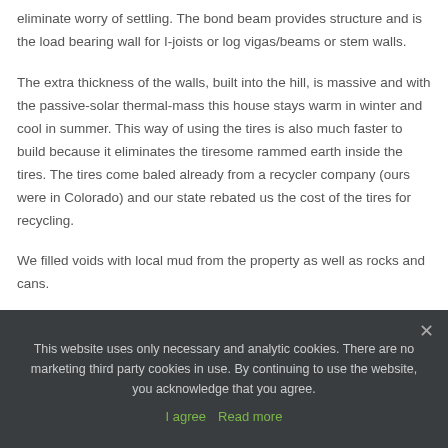eliminate worry of settling. The bond beam provides structure and is the load bearing wall for I-joists or log vigas/beams or stem walls.
The extra thickness of the walls, built into the hill, is massive and with the passive-solar thermal-mass this house stays warm in winter and cool in summer. This way of using the tires is also much faster to build because it eliminates the tiresome rammed earth inside the tires. The tires come baled already from a recycler company (ours were in Colorado) and our state rebated us the cost of the tires for recycling.
We filled voids with local mud from the property as well as rocks and cans.
This website uses only necessary and analytic cookies. There are no marketing third party cookies in use. By continuing to use the website, you acknowledge that you agree.
I agree   Read more